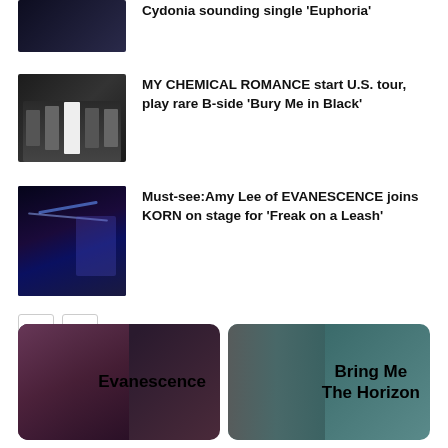[Figure (photo): Partial top news item with dark concert photo - Cydonia sounding single Euphoria]
Cydonia sounding single 'Euphoria'
[Figure (photo): Black and white photo of My Chemical Romance band members]
MY CHEMICAL ROMANCE start U.S. tour, play rare B-side 'Bury Me in Black'
[Figure (photo): Concert photo with blue fireworks - Amy Lee of Evanescence joins Korn on stage]
Must-see: Amy Lee of EVANESCENCE joins KORN on stage for 'Freak on a Leash'
< >
[Figure (photo): Evanescence promotional card with Amy Lee]
[Figure (photo): Bring Me The Horizon promotional card with vocalist]